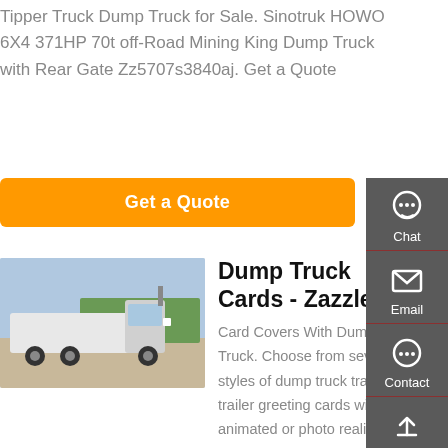Tipper Truck Dump Truck for Sale. Sinotruk HOWO 6X4 371HP 70t off-Road Mining King Dump Truck with Rear Gate Zz5707s3840aj. Get a Quote
Get a Quote
[Figure (photo): White semi truck / tractor unit parked outdoors, side profile view, with trees in background]
Dump Truck Cards - Zazzle
Card Covers With Dump Truck. Choose from several styles of dump truck tractor trailer greeting cards with animated or photo realistic covers. All of these cards feature stylized